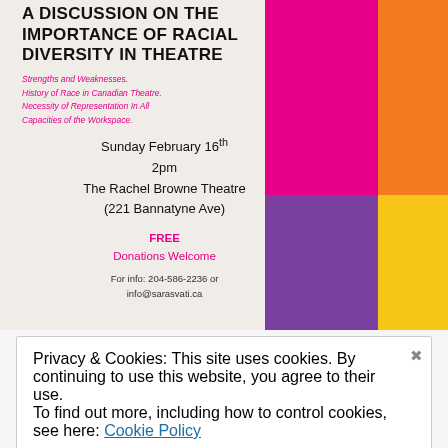[Figure (infographic): Event poster with colored geometric blocks (pink, orange, purple, yellow) on cream background for a theatre diversity discussion event]
A DISCUSSION ON THE IMPORTANCE OF RACIAL DIVERSITY IN THEATRE
Strengths and Weaknesses. History of Race in Canadian Theatre. Necessity of Representation In All Capacities of the Workspace.
Sunday February 16th
2pm
The Rachel Browne Theatre
(221 Bannatyne Ave)
FREE
Donations Welcome
For info: 204-586-2236 or
info@sarasvati.ca
Privacy & Cookies: This site uses cookies. By continuing to use this website, you agree to their use.
To find out more, including how to control cookies, see here: Cookie Policy
Close and accept